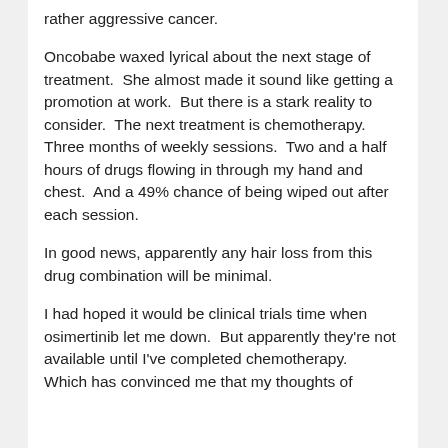rather aggressive cancer.
Oncobabe waxed lyrical about the next stage of treatment.  She almost made it sound like getting a promotion at work.  But there is a stark reality to consider.  The next treatment is chemotherapy.  Three months of weekly sessions.  Two and a half hours of drugs flowing in through my hand and chest.  And a 49% chance of being wiped out after each session.
In good news, apparently any hair loss from this drug combination will be minimal.
I had hoped it would be clinical trials time when osimertinib let me down.  But apparently they're not available until I've completed chemotherapy.  Which has convinced me that my thoughts of